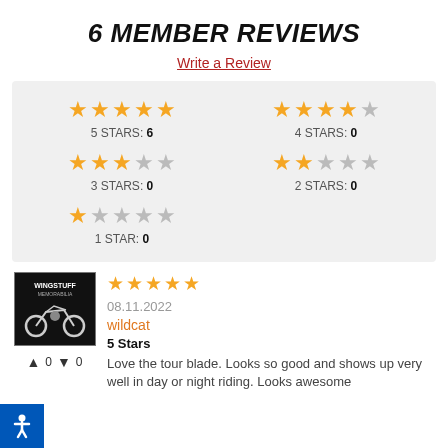6 MEMBER REVIEWS
Write a Review
[Figure (infographic): Rating summary box showing star distribution: 5 STARS: 6, 4 STARS: 0, 3 STARS: 0, 2 STARS: 0, 1 STAR: 0]
[Figure (photo): Product photo thumbnail with WingStuFF branding and motorcycle image on dark background]
08.11.2022
wildcat
5 Stars
Love the tour blade. Looks so good and shows up very well in day or night riding. Looks awesome